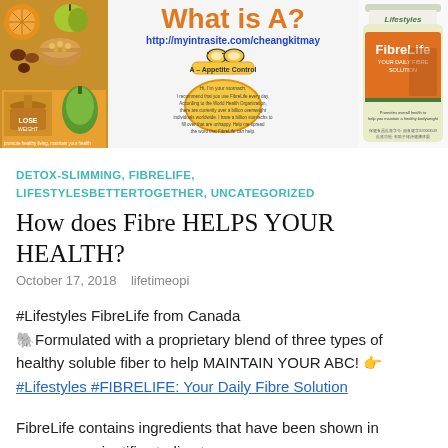[Figure (infographic): Banner image with three sections: left showing food ingredients (fruits, nuts, grains) in orange/green tones; center showing 'What is A?' in orange text, a URL http://myintrasite.com/cheangkitmay, and a cartoon stomach character labeled A-Appetite Control with text about FibreLife; right showing a Lifestyles FibreLife product bottle.]
DETOX-SLIMMING, FIBRELIFE, LIFESTYLESBETTERTOGETHER, UNCATEGORIZED
How does Fibre HELPS YOUR HEALTH?
October 17, 2018   lifetimeopi
#Lifestyles FibreLife from Canada
🐘Formulated with a proprietary blend of three types of healthy soluble fiber to help MAINTAIN YOUR ABC! 👉
#Lifestyles #FIBRELIFE: Your Daily Fibre Solution
FibreLife contains ingredients that have been shown in numerous scientific studies to: